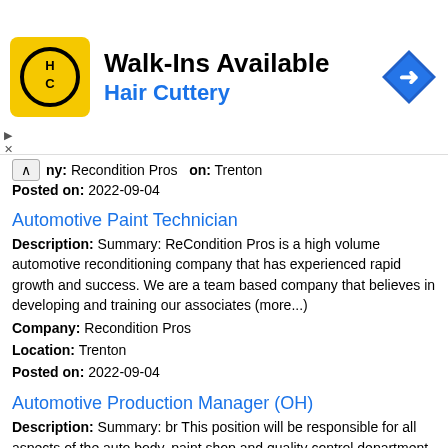[Figure (other): Hair Cuttery advertisement banner with yellow HC logo, 'Walk-Ins Available' text, blue 'Hair Cuttery' subtitle, and blue diamond arrow icon]
ny: Recondition Pros
on: Trenton
Posted on: 2022-09-04
Automotive Paint Technician
Description: Summary: ReCondition Pros is a high volume automotive reconditioning company that has experienced rapid growth and success. We are a team based company that believes in developing and training our associates (more...)
Company: Recondition Pros
Location: Trenton
Posted on: 2022-09-04
Automotive Production Manager (OH)
Description: Summary: br This position will be responsible for all aspects of the auto body, paint shop and quality control department including employees and production. br Pay Range depending on experience - (more...)
Company: Recondition Pros
Location: Trenton
Posted on: 2022-09-04
Automotive Paint Technician